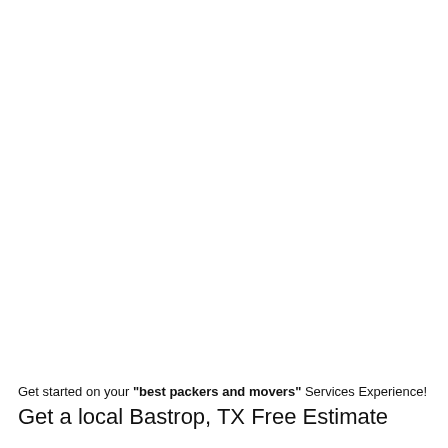Get started on your "best packers and movers" Services Experience!
Get a local Bastrop, TX Free Estimate